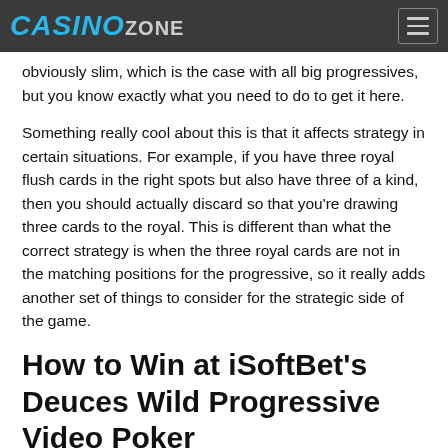CASINO ZONE
obviously slim, which is the case with all big progressives, but you know exactly what you need to do to get it here.
Something really cool about this is that it affects strategy in certain situations. For example, if you have three royal flush cards in the right spots but also have three of a kind, then you should actually discard so that you’re drawing three cards to the royal. This is different than what the correct strategy is when the three royal cards are not in the matching positions for the progressive, so it really adds another set of things to consider for the strategic side of the game.
How to Win at iSoftBet’s Deuces Wild Progressive Video Poker
If you want to have the best chances of winning at this